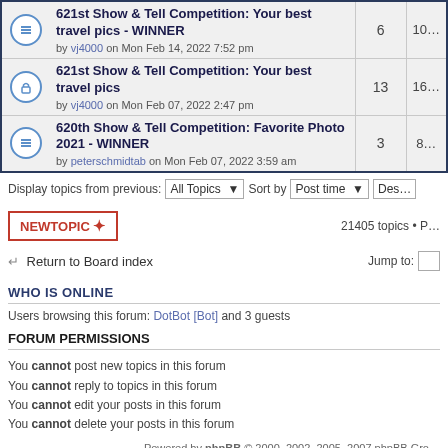|  | Topic | Replies | Views |
| --- | --- | --- | --- |
| [icon] | 621st Show & Tell Competition: Your best travel pics - WINNER
by vj4000 on Mon Feb 14, 2022 7:52 pm | 6 | 10… |
| [icon] | 621st Show & Tell Competition: Your best travel pics
by vj4000 on Mon Feb 07, 2022 2:47 pm | 13 | 16… |
| [icon] | 620th Show & Tell Competition: Favorite Photo 2021 - WINNER
by peterschmidtab on Mon Feb 07, 2022 3:59 am | 3 | 8… |
Display topics from previous: All Topics  Sort by  Post time  Des…
NEWTOPIC ✶   21405 topics • P…
↩ Return to Board index   Jump to:  [input]
WHO IS ONLINE
Users browsing this forum: DotBot [Bot] and 3 guests
FORUM PERMISSIONS
You cannot post new topics in this forum
You cannot reply to topics in this forum
You cannot edit your posts in this forum
You cannot delete your posts in this forum
Powered by phpBB © 2000, 2002, 2005, 2007 phpBB Gro…